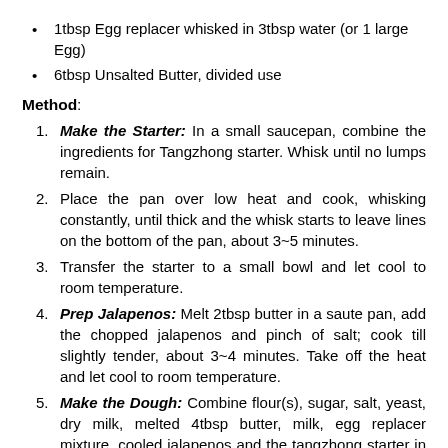1tbsp Egg replacer whisked in 3tbsp water (or 1 large Egg)
6tbsp Unsalted Butter, divided use
Method:
Make the Starter: In a small saucepan, combine the ingredients for Tangzhong starter. Whisk until no lumps remain.
Place the pan over low heat and cook, whisking constantly, until thick and the whisk starts to leave lines on the bottom of the pan, about 3~5 minutes.
Transfer the starter to a small bowl and let cool to room temperature.
Prep Jalapenos: Melt 2tbsp butter in a saute pan, add the chopped jalapenos and pinch of salt; cook till slightly tender, about 3~4 minutes. Take off the heat and let cool to room temperature.
Make the Dough: Combine flour(s), sugar, salt, yeast, dry milk, melted 4tbsp butter, milk, egg replacer mixture, cooled jalapenos and the tangzhong starter in a bowl, mixing by the bowl of the stand mixer.